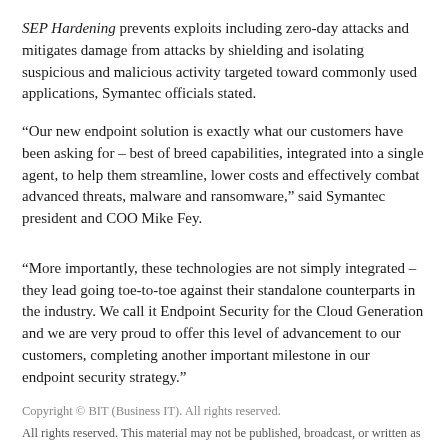SEP Hardening prevents exploits including zero-day attacks and mitigates damage from attacks by shielding and isolating suspicious and malicious activity targeted toward commonly used applications, Symantec officials stated.
“Our new endpoint solution is exactly what our customers have been asking for – best of breed capabilities, integrated into a single agent, to help them streamline, lower costs and effectively combat advanced threats, malware and ransomware,” said Symantec president and COO Mike Fey.
“More importantly, these technologies are not simply integrated – they lead going toe-to-toe against their standalone counterparts in the industry. We call it Endpoint Security for the Cloud Generation and we are very proud to offer this level of advancement to our customers, completing another important milestone in our endpoint security strategy.”
Copyright © BIT (Business IT). All rights reserved.
All rights reserved. This material may not be published, broadcast, or written as...